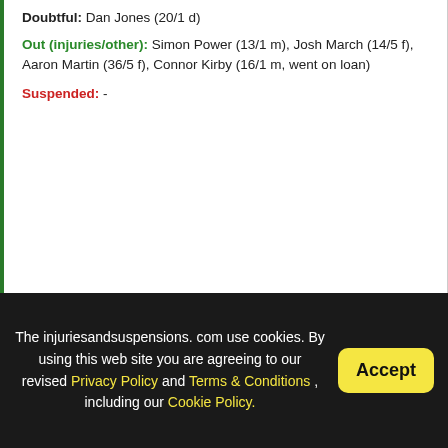Doubtful: Dan Jones (20/1 d)
Out (injuries/other): Simon Power (13/1 m), Josh March (14/5 f), Aaron Martin (36/5 f), Connor Kirby (16/1 m, went on loan)
Suspended: -
Latest league games
| Date | Home | Score | Away |
| --- | --- | --- | --- |
| 20-Aug | Barrow AFC | 1 - 0 (1 - 0) | Harrogate Town |
| 16-Aug | Gillingham | 0 - 2 (0 - 1) | Harrogate Town |
| 13-Aug | Harrogate Town | 0 - 0 (0 - 0) | Crawley Town |
| 06-Aug | Crewe Alexandra | 3 - 0 (2 - 0) | Harrogate Town |
The injuriesandsuspensions.com use cookies. By using this web site you are agreeing to our revised Privacy Policy and Terms & Conditions , including our Cookie Policy.